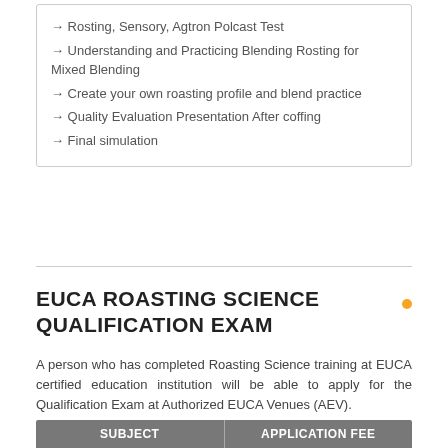→ Rosting, Sensory, Agtron Polcast Test
→ Understanding and Practicing Blending Rosting for Mixed Blending
→ Create your own roasting profile and blend practice
→ Quality Evaluation Presentation After coffing
→ Final simulation
EUCA ROASTING SCIENCE QUALIFICATION EXAM
A person who has completed Roasting Science training at EUCA certified education institution will be able to apply for the Qualification Exam at Authorized EUCA Venues (AEV).
| SUBJECT | APPLICATION FEE |
| --- | --- |